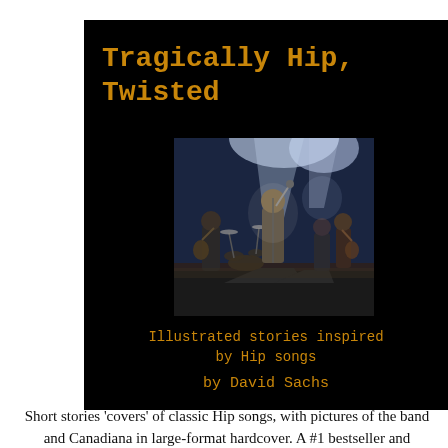[Figure (illustration): Book cover for 'Tragically Hip, Twisted' by David Sachs. Black background with orange/amber Courier typeface title at top, a concert photograph in the center showing band members performing on stage with dramatic lighting, subtitle 'Illustrated stories inspired by Hip songs' and author name 'by David Sachs' below.]
Short stories 'covers' of classic Hip songs, with pictures of the band and Canadiana in large-format hardcover. A #1 bestseller and fundraiser for cancer research. Available